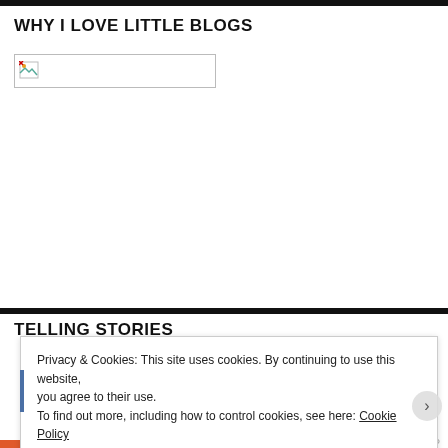WHY I LOVE LITTLE BLOGS
[Figure (illustration): Broken image placeholder with small icon in top-left corner, rectangular border]
TELLING STORIES
Privacy & Cookies: This site uses cookies. By continuing to use this website, you agree to their use.
To find out more, including how to control cookies, see here: Cookie Policy
Close and accept